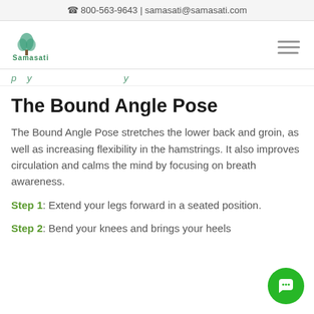☎ 800-563-9643 | samasati@samasati.com
[Figure (logo): Samasati Yoga & Wellness Retreat logo with tree illustration and green text]
... p ... y ... y ...
The Bound Angle Pose
The Bound Angle Pose stretches the lower back and groin, as well as increasing flexibility in the hamstrings. It also improves circulation and calms the mind by focusing on breath awareness.
Step 1: Extend your legs forward in a seated position.
Step 2: Bend your knees and brings your heels